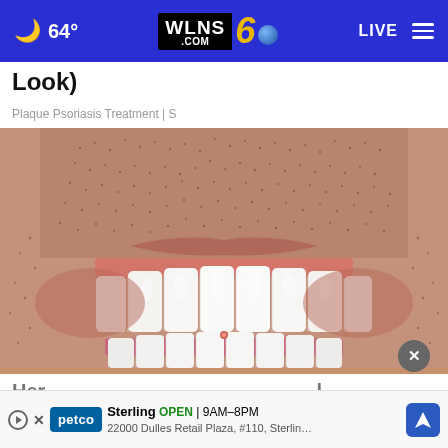🌙 64° | WLNS6.COM | LIVE
Look)
Plaque Psoriasis Treatment | S
[Figure (photo): Close-up photo of a man's lower face showing bright white teeth and stubble beard, smiling wide]
Her Cost You in 2022
Sterling OPEN | 9AM–8PM 22000 Dulles Retail Plaza, #110, Sterling (Petco advertisement)